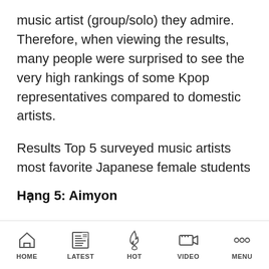music artist (group/solo) they admire. Therefore, when viewing the results, many people were surprised to see the very high rankings of some Kpop representatives compared to domestic artists.
Results Top 5 surveyed music artists most favorite Japanese female students
Hạng 5: Aimyon
HOME  LATEST  HOT  VIDEO  MENU